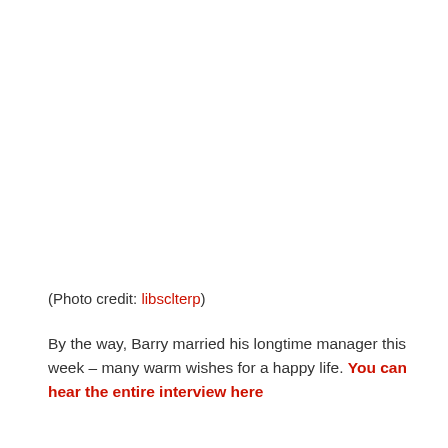(Photo credit: libsclterp)
By the way, Barry married his longtime manager this week – many warm wishes for a happy life. You can hear the entire interview here